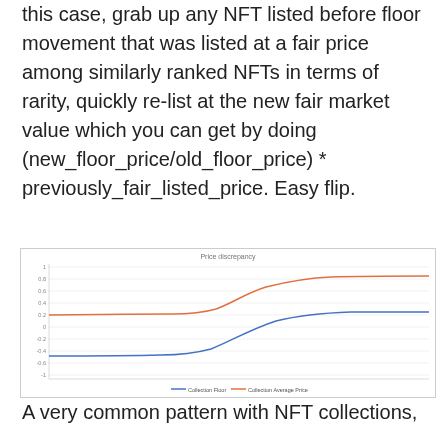this case, grab up any NFT listed before floor movement that was listed at a fair price among similarly ranked NFTs in terms of rarity, quickly re-list at the new fair market value which you can get by doing (new_floor_price/old_floor_price) * previously_fair_listed_price. Easy flip.
[Figure (continuous-plot): A line chart titled 'Price discrepancy' showing two sigmoid-shaped curves over time. The orange curve (Collection Average Price) starts around 0.1 and rises to approximately 0.8-0.9 at a higher plateau. The blue curve (Collection Floor) starts near 0.1 and rises to approximately 0.4-0.5 at a lower plateau. Both curves show an S-shaped growth pattern.]
A very common pattern with NFT collections,